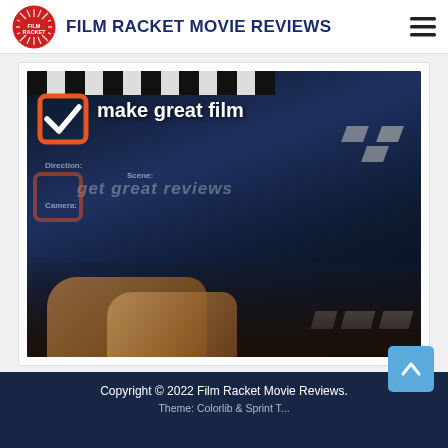Film Racket Movie Reviews
[Figure (illustration): Film clapperboard image with text overlay 'make great film' in white bold text with an orange checkbox icon, and faded text 'get great reviews'. Hands holding a clapperboard in the lower portion.]
Copyright © 2022 Film Racket Movie Reviews.